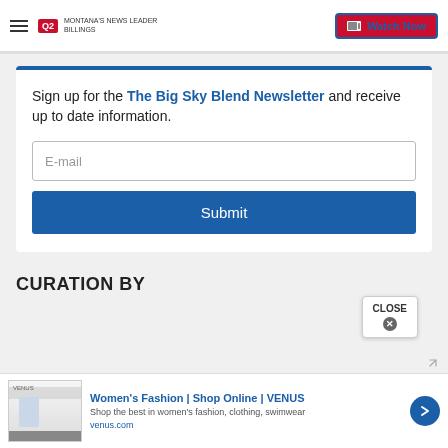Q2 MONTANA'S NEWS LEADER BILLINGS | Watch Now
Sign up for the The Big Sky Blend Newsletter and receive up to date information.
E-mail
Submit
CURATION BY
[Figure (screenshot): Advertisement banner for Women's Fashion | Shop Online | VENUS with image of woman, text: Shop the best in women's fashion, clothing, swimwear. venus.com]